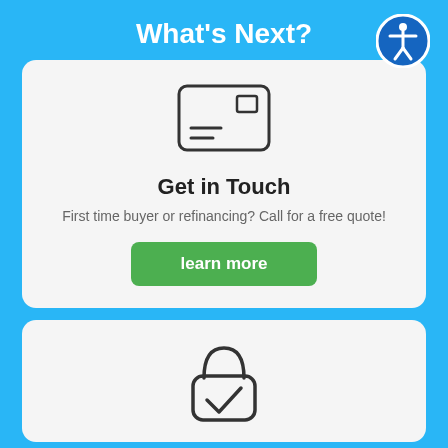What's Next?
[Figure (illustration): Accessibility icon: white figure with arms extended in a blue circle]
[Figure (illustration): Envelope/mail icon with stamp rectangle and two lines]
Get in Touch
First time buyer or refinancing? Call for a free quote!
learn more
[Figure (illustration): Lock with checkmark icon]